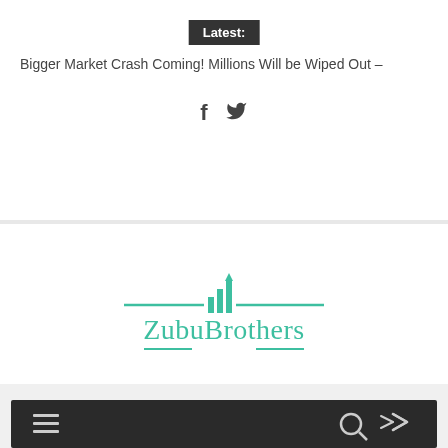Latest: Bigger Market Crash Coming! Millions Will be Wiped Out –
[Figure (logo): ZubuBrothers financial logo with teal bar chart icon and decorative lines]
[Figure (other): Dark navigation bar with hamburger menu, search, and share icons]